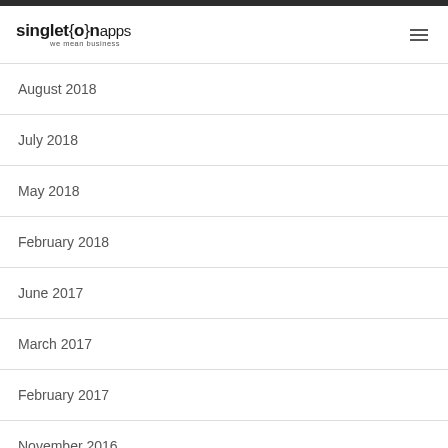singleton apps — we mean business
August 2018
July 2018
May 2018
February 2018
June 2017
March 2017
February 2017
November 2016
August 2016